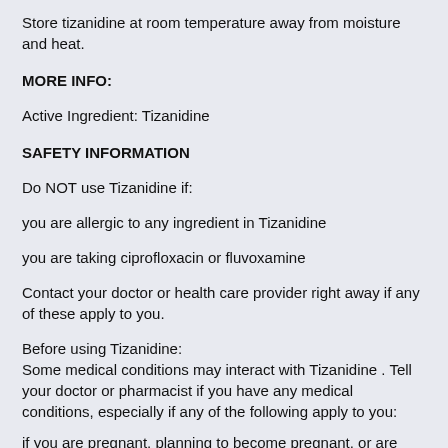Store tizanidine at room temperature away from moisture and heat.
MORE INFO:
Active Ingredient: Tizanidine
SAFETY INFORMATION
Do NOT use Tizanidine if:
you are allergic to any ingredient in Tizanidine
you are taking ciprofloxacin or fluvoxamine
Contact your doctor or health care provider right away if any of these apply to you.
Before using Tizanidine:
Some medical conditions may interact with Tizanidine . Tell your doctor or pharmacist if you have any medical conditions, especially if any of the following apply to you:
if you are pregnant, planning to become pregnant, or are breast-feeding
if you are taking any prescription or nonprescription medicine, herbal